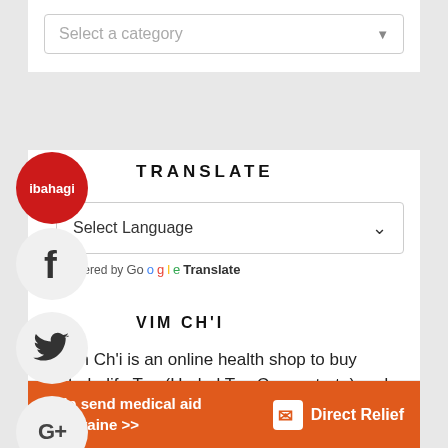[Figure (screenshot): Dropdown UI element with placeholder text 'Select a category' and a down arrow]
TRANSLATE
[Figure (screenshot): Language select dropdown with 'Select Language' placeholder and chevron, below that 'Powered by Google Translate']
VIM CH'I
Vim Ch'i is an online health shop to buy Herbalife Tea (Herbal Tea Concentrate) and
[Figure (infographic): Orange ad banner: 'Help send medical aid to Ukraine >>' with Direct Relief logo]